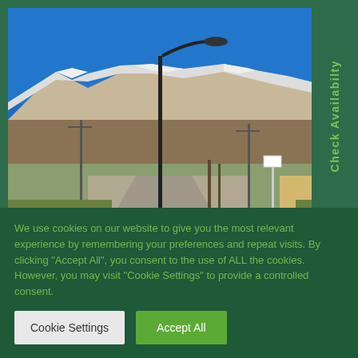[Figure (photo): Outdoor photo of a road scene with a tall street lamp in the foreground, snow-capped mountains in the background, utility poles, bare trees, and a clear blue sky.]
Check Availabilty
We use cookies on our website to give you the most relevant experience by remembering your preferences and repeat visits. By clicking "Accept All", you consent to the use of ALL the cookies. However, you may visit "Cookie Settings" to provide a controlled consent.
Cookie Settings
Accept All